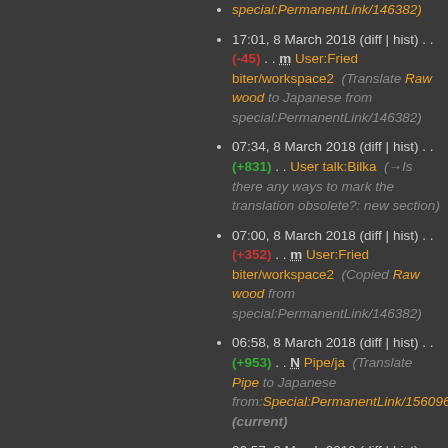special:PermanentLink/146382)
17:01, 8 March 2018 (diff | hist) . . (-45) . . m User:Friedbiter/workspace2 (Translate Raw wood to Japanese from special:PermanentLink/146382)
07:34, 8 March 2018 (diff | hist) . . (+831) . . User talk:Bilka (→Is there any ways to mark the translation obsolete?: new section)
07:00, 8 March 2018 (diff | hist) . . (+352) . . m User:Friedbiter/workspace2 (Copied Raw wood from special:PermanentLink/146382)
06:58, 8 March 2018 (diff | hist) . . (+953) . . N Pipe/ja (Translate Pipe to Japanese from:Special:PermanentLink/156096) (current)
06:57, 8 March 2018 (diff | hist) . .